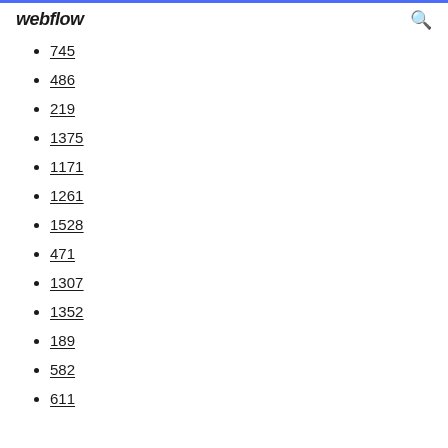webflow
745
486
219
1375
1171
1261
1528
471
1307
1352
189
582
611